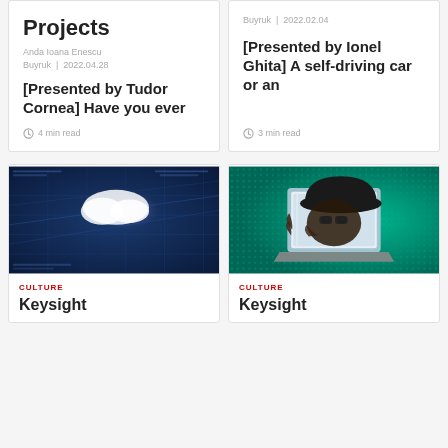Projects
Anda Ioana Enescu
Buyruk | 2022.04.28
[Presented by Tudor Cornea] Have you ever
4 min read
Buyruk | 2022.02.04
[Presented by Ionel Ghita] A self-driving car or an
3 min read
[Figure (photo): Abstract digital cloud computing image with blue background, grid lines, glowing cloud shape, and streaming light rays]
CULTURE
Keysight
[Figure (illustration): Pop-art style illustration of a hacker in a black hat and sunglasses peering out from behind a laptop screen, green dotted background]
CULTURE
Keysight